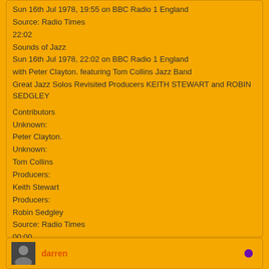Sun 16th Jul 1978, 19:55 on BBC Radio 1 England
Source: Radio Times
22:02
Sounds of Jazz
Sun 16th Jul 1978, 22:02 on BBC Radio 1 England
with Peter Clayton. featuring Tom Collins Jazz Band
Great Jazz Solos Revisited Producers KEITH STEWART and ROBIN SEDGLEY
Contributors
Unknown:
Peter Clayton.
Unknown:
Tom Collins
Producers:
Keith Stewart
Producers:
Robin Sedgley
Source: Radio Times
00:00
* am as Radio
Mon 17th Jul 1978, 00:00 on BBC Radio 1 England
Source: Radio Times
FOR THE HONOUR OF GRAYSKULL
darren